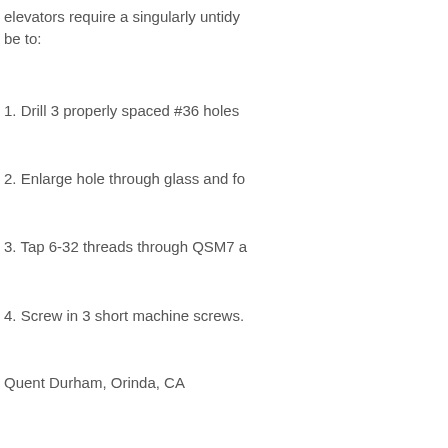elevators require a singularly untidy be to:
1. Drill 3 properly spaced #36 holes
2. Enlarge hole through glass and fo
3. Tap 6-32 threads through QSM7 a
4. Screw in 3 short machine screws.
Quent Durham, Orinda, CA
Dear Jim,
N2AM, Q-200 SN#228 completed its through 1.3 hours and 2 landings on
Many thanks to all who helped me w 2.5 hrs of right seat touch and go's h
Special thanks also to Sam Hoskins head into the rudder pedal area and Q-2 types, N2AM was only the seco
Sam gave my wife Mary a ride in his